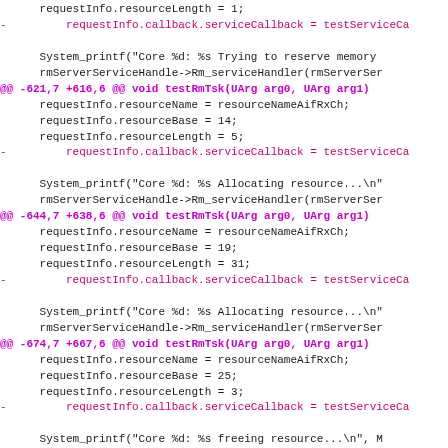Code diff showing changes to requestInfo callback assignments and resource parameters across multiple hunks
@@ -621,7 +616,6 @@ void testRmTsk(UArg arg0, UArg arg1)
@@ -644,7 +638,6 @@ void testRmTsk(UArg arg0, UArg arg1)
@@ -674,7 +667,6 @@ void testRmTsk(UArg arg0, UArg arg1)
@@ -698,7 +690,6 @@ void testRmTsk(UArg arg0, UArg arg1)